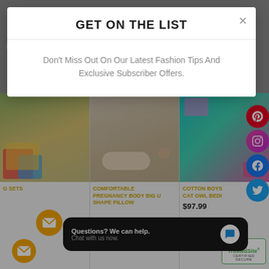[Figure (screenshot): E-commerce website screenshot showing a modal popup overlay with 'GET ON THE LIST' newsletter signup, product cards in background including bedroom/pillow products, social media icons (Pinterest, Instagram, Facebook, Twitter), email subscribe button, live chat widget, and TrustedSite badge.]
GET ON THE LIST
Don't Miss Out On Our Latest Fashion Tips And Exclusive Subscriber Offers.
G SETS
COMFORTABLE PREGNANCY BODY BIG U SHAPE PILLOW
COTTON BOYS CAT OWL BEDI
$97.99
Questions? We can help. Chat with us now.